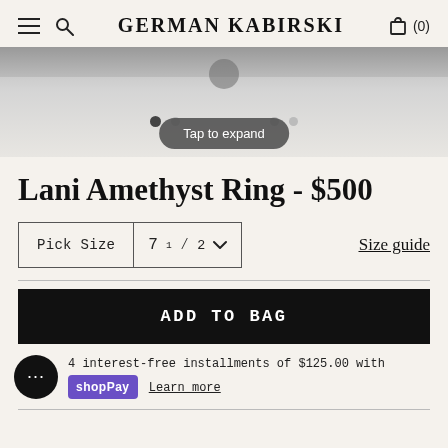GERMAN KABIRSKI
[Figure (photo): Partial product image of a ring, cropped at top, with dots navigation and 'Tap to expand' overlay button]
Lani Amethyst Ring - $500
Pick Size  7½  Size guide
ADD TO BAG
4 interest-free installments of $125.00 with shop Pay Learn more